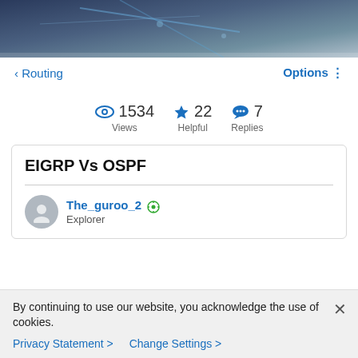[Figure (photo): Hero banner image showing networking cables and equipment with blue tones]
< Routing    Options !
1534 Views   22 Helpful   7 Replies
EIGRP Vs OSPF
The_guroo_2  Explorer
By continuing to use our website, you acknowledge the use of cookies.
Privacy Statement >   Change Settings >